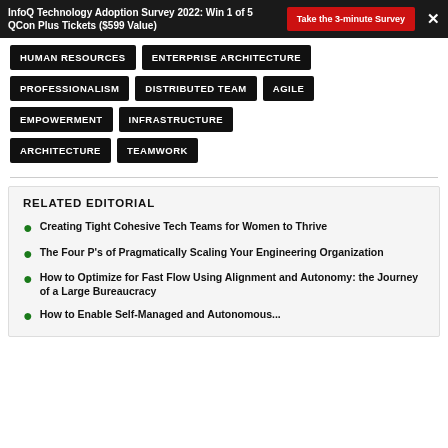InfoQ Technology Adoption Survey 2022: Win 1 of 5 QCon Plus Tickets ($599 Value) | Take the 3-minute Survey
HUMAN RESOURCES
ENTERPRISE ARCHITECTURE
PROFESSIONALISM
DISTRIBUTED TEAM
AGILE
EMPOWERMENT
INFRASTRUCTURE
ARCHITECTURE
TEAMWORK
RELATED EDITORIAL
Creating Tight Cohesive Tech Teams for Women to Thrive
The Four P's of Pragmatically Scaling Your Engineering Organization
How to Optimize for Fast Flow Using Alignment and Autonomy: the Journey of a Large Bureaucracy